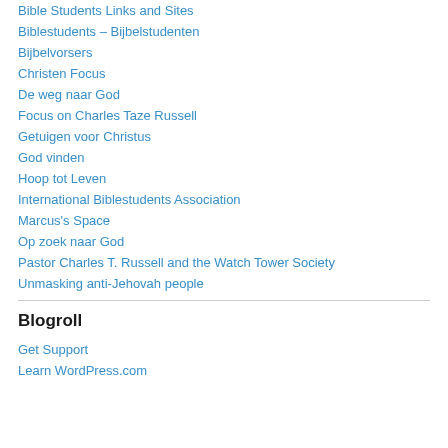Bible Students Links and Sites
Biblestudents – Bijbelstudenten
Bijbelvorsers
Christen Focus
De weg naar God
Focus on Charles Taze Russell
Getuigen voor Christus
God vinden
Hoop tot Leven
International Biblestudents Association
Marcus's Space
Op zoek naar God
Pastor Charles T. Russell and the Watch Tower Society
Unmasking anti-Jehovah people
Blogroll
Get Support
Learn WordPress.com